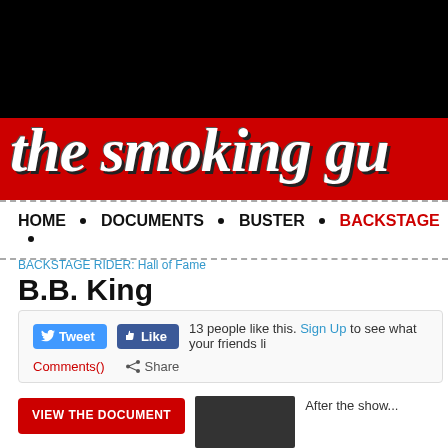[Figure (screenshot): The Smoking Gun website header banner with black background, red strip, and white italic bold site title text 'the smoking gu' (partially visible)]
HOME • DOCUMENTS • BUSTER • BACKSTAGE •
BACKSTAGE RIDER: Hall of Fame
B.B. King
Tweet  Like  13 people like this. Sign Up to see what your friends li...  Comments()  Share
VIEW THE DOCUMENT   After the show...